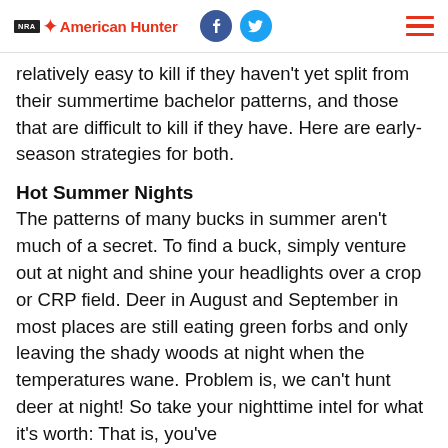NRA American Hunter
relatively easy to kill if they haven't yet split from their summertime bachelor patterns, and those that are difficult to kill if they have. Here are early-season strategies for both.
Hot Summer Nights
The patterns of many bucks in summer aren't much of a secret. To find a buck, simply venture out at night and shine your headlights over a crop or CRP field. Deer in August and September in most places are still eating green forbs and only leaving the shady woods at night when the temperatures wane. Problem is, we can't hunt deer at night! So take your nighttime intel for what it's worth: That is, you've